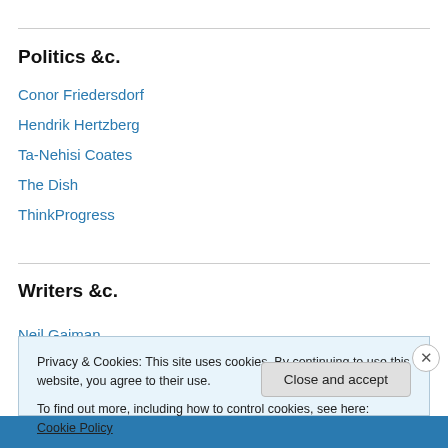Politics &c.
Conor Friedersdorf
Hendrik Hertzberg
Ta-Nehisi Coates
The Dish
ThinkProgress
Writers &c.
Neil Gaiman
Privacy & Cookies: This site uses cookies. By continuing to use this website, you agree to their use.
To find out more, including how to control cookies, see here: Cookie Policy
Close and accept